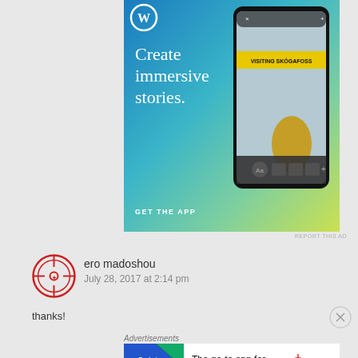[Figure (illustration): WordPress advertisement banner with blue-to-yellow gradient background, WordPress logo, text 'Create immersive stories. GET THE APP', and a phone mockup showing a blog post about Skógafoss waterfall]
REPORT THIS AD
[Figure (illustration): Red circular avatar/logo with crosshair design]
ero madoshou
July 28, 2017 at 2:14 pm
thanks!
Advertisements
[Figure (illustration): Pocket Casts advertisement: 'The go-to app for podcast lovers.' with Pocket Casts logo on white background and colorful tile image on left]